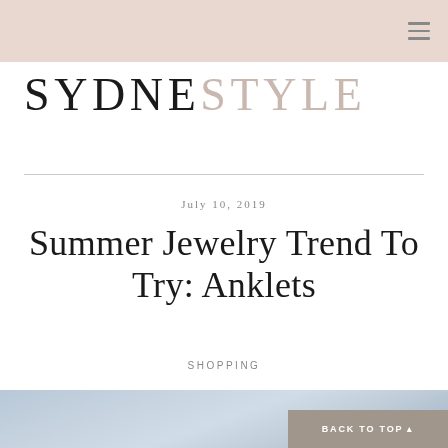SYDNESTYLE
July 10, 2019
Summer Jewelry Trend To Try: Anklets
SHOPPING
[Figure (photo): Soft blue-toned photograph partially visible at the bottom of the page, showing what appears to be a fashion/jewelry related image.]
BACK TO TOP